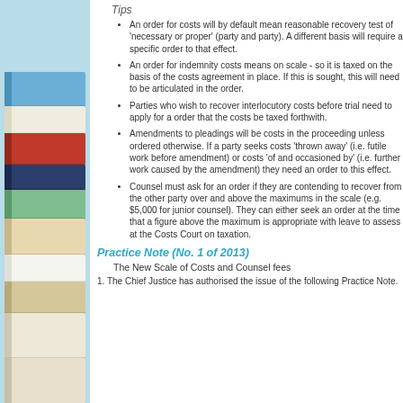Tips
An order for costs will by default mean reasonable recovery test of 'necessary or proper' (party and party). A different basis will require a specific order to that effect.
An order for indemnity costs means on scale - so it is taxed on the basis of the costs agreement in place. If this is sought, this will need to be articulated in the order.
Parties who wish to recover interlocutory costs before trial need to apply for a order that the costs be taxed forthwith.
Amendments to pleadings will be costs in the proceeding unless ordered otherwise. If a party seeks costs 'thrown away' (i.e. futile work before amendment) or costs 'of and occasioned by' (i.e. further work caused by the amendment) they need an order to this effect.
Counsel must ask for an order if they are contending to recover from the other party over and above the maximums in the scale (e.g. $5,000 for junior counsel). They can either seek an order at the time that a figure above the maximum is appropriate with leave to assess at the Costs Court on taxation.
Practice Note (No. 1 of 2013)
The New Scale of Costs and Counsel fees
1. The Chief Justice has authorised the issue of the following Practice Note.